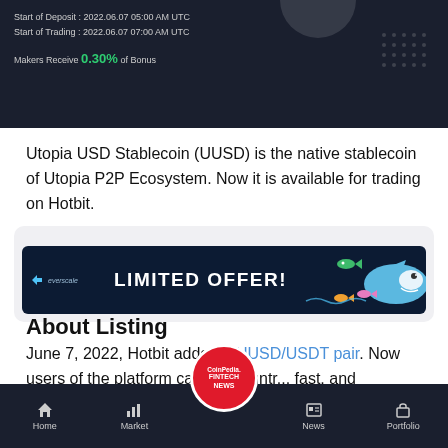[Figure (screenshot): Dark themed cryptocurrency exchange UI showing deposit and trading start times, and maker bonus info]
Utopia USD Stablecoin (UUSD) is the native stablecoin of Utopia P2P Ecosystem. Now it is available for trading on Hotbit.
Advertisement
[Figure (screenshot): Everscale LIMITED OFFER! advertisement banner with shark and fish graphics]
About Listing
June 7, 2022, Hotbit added a UUSD/USDT pair. Now users of the platform can make untra... fast, and reasonably priced
Home | Market | CoinPedia FINTECH NEWS | News | Portfolio